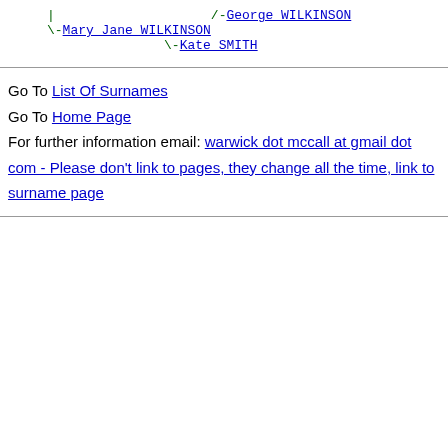[Figure (other): Genealogy tree fragment showing | /-George WILKINSON, \-Mary Jane WILKINSON, \-Kate SMITH in monospace text]
Go To List Of Surnames
Go To Home Page
For further information email: warwick dot mccall at gmail dot com - Please don't link to pages, they change all the time, link to surname page